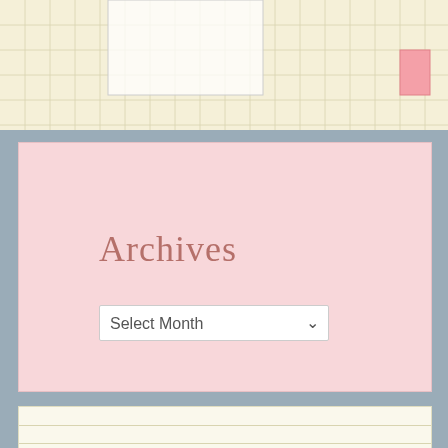[Figure (other): Partial view of a bar chart or grid with yellow/cream background, showing white and pink bar elements with grid lines. Cropped at top of page.]
Archives
Select Month
Blog Stats
48,919 hits